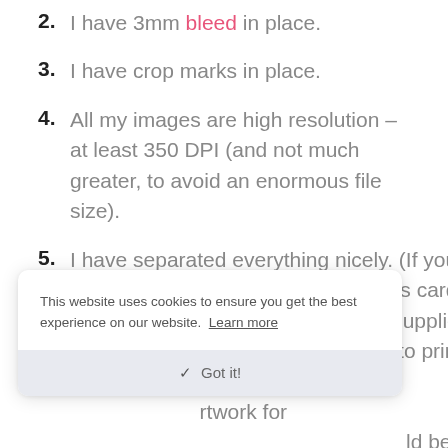2. I have 3mm bleed in place.
3. I have crop marks in place.
4. All my images are high resolution – at least 350 DPI (and not much greater, to avoid an enormous file size).
5. I have separated everything nicely. (If you want us to print four sets of business cards, the artwork for each set should be supplied on a separate page. If you want us to print a double-sided business card, the artwork for each side should be ... the artwork for
This website uses cookies to ensure you get the best experience on our website. Learn more
6. I have exported my artwork into a high-